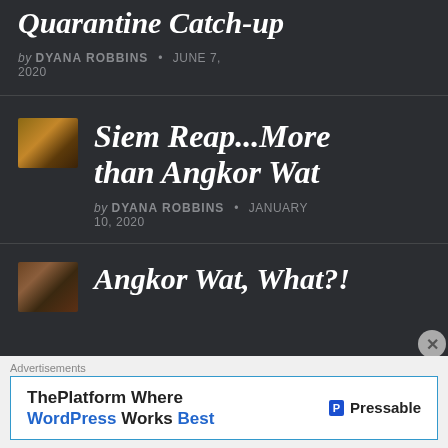Quarantine Catch-up
by DYANA ROBBINS • JUNE 7, 2020
Siem Reap...More than Angkor Wat
by DYANA ROBBINS • JANUARY 10, 2020
Angkor Wat, What?!
Advertisements
ThePlatform Where WordPress Works Best — Pressable